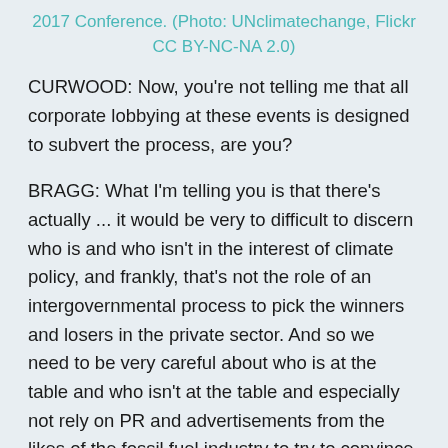2017 Conference. (Photo: UNclimatechange, Flickr CC BY-NC-NA 2.0)
CURWOOD: Now, you're not telling me that all corporate lobbying at these events is designed to subvert the process, are you?
BRAGG: What I'm telling you is that there's actually ... it would be very to difficult to discern who is and who isn't in the interest of climate policy, and frankly, that's not the role of an intergovernmental process to pick the winners and losers in the private sector. And so we need to be very careful about who is at the table and who isn't at the table and especially not rely on PR and advertisements from the likes of the fossil fuel industry to try to convince us that they have the interests of people and the planet in mind when their actions over the last two decades, at least, have proved otherwise.